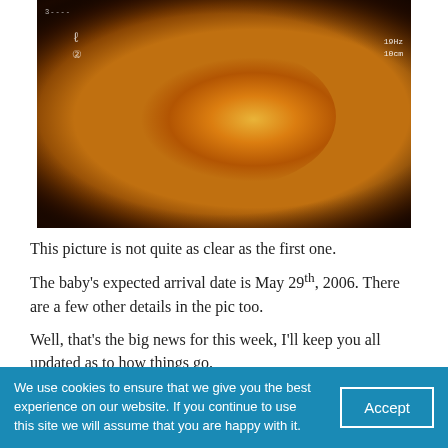[Figure (photo): Ultrasound scan image showing a fetus, with amber/orange tones against a dark background. Shows fetal figure on left side and a bright glowing elliptical region. Annotation shows 19Hz and 10cm on the right side.]
This picture is not quite as clear as the first one.
The baby’s expected arrival date is May 29th, 2006. There are a few other details in the pic too.
Well, that’s the big news for this week, I’ll keep you all updated as to how things go.
October 15, 2005  News, peterandava.com  Leave a comment
We use cookies to ensure that we give you the best experience on our website. If you continue to use this site we will assume that you are happy with it.   Accept